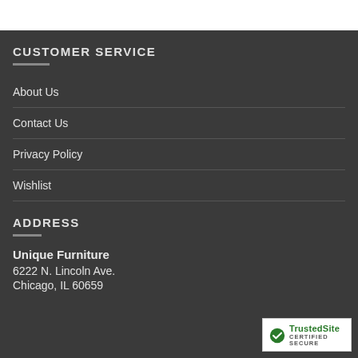CUSTOMER SERVICE
About Us
Contact Us
Privacy Policy
Wishlist
ADDRESS
Unique Furniture
6222 N. Lincoln Ave.
Chicago, IL 60659
[Figure (logo): TrustedSite Certified Secure badge with green checkmark]